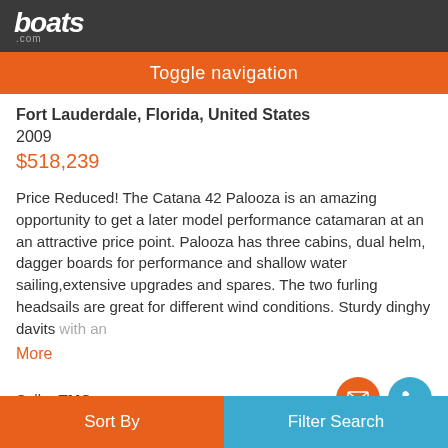boats.com
Toggle navigation
Fort Lauderdale, Florida, United States
2009
$518,239
Price Reduced! The Catana 42 Palooza is an amazing opportunity to get a later model performance catamaran at an an attractive price point. Palooza has three cabins, dual helm, dagger boards for performance and shallow water sailing,extensive upgrades and spares. The two furling headsails are great for different wind conditions. Sturdy dinghy davits with an
More
Seller TMC
Sort By   Filter Search